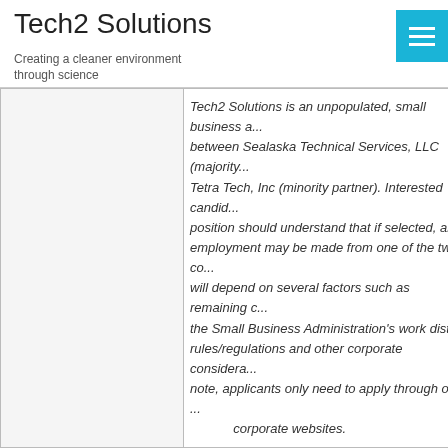Tech2 Solutions
Creating a cleaner environment through science
Tech2 Solutions is an unpopulated, small business... between Sealaska Technical Services, LLC (majority... Tetra Tech, Inc (minority partner). Interested candidates for this position should understand that if selected, an offer of employment may be made from one of the two companies, which will depend on several factors such as remaining compliant with the Small Business Administration's work distribution rules/regulations and other corporate considerations. Please note, applicants only need to apply through one of the two corporate websites.
ALL
Subcontract Technical Representative
Apply Here: Sealaska  Tet...

Tech2 Solutions is an unpopulated, small business... between Sealaska Technical Services, LLC (majority...